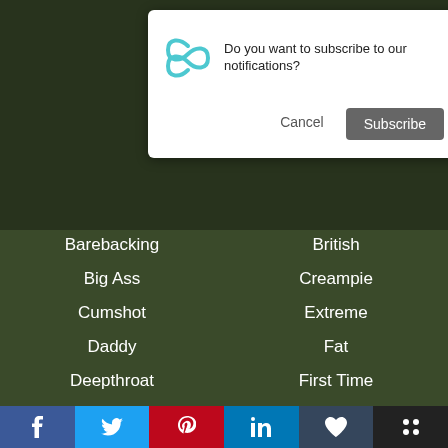[Figure (screenshot): Browser notification dialog: 'Do you want to subscribe to our notifications?' with Cancel and Subscribe buttons]
Barebacking
British
Big Ass
Creampie
Cumshot
Extreme
Daddy
Fat
Deepthroat
First Time
Doggystyle
Fisting
Emo
Foursome
European
French
Gangbang
Homemade
Facebook | Twitter | Pinterest | LinkedIn | Tumblr | More